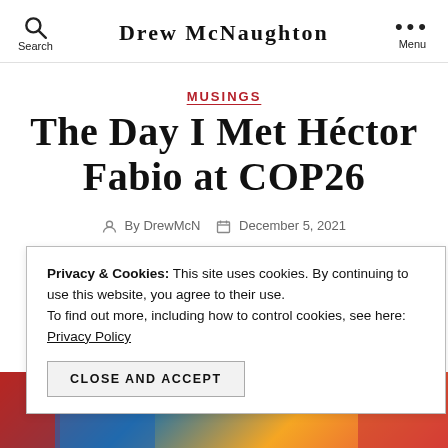Drew McNaughton | Search | Menu
MUSINGS
The Day I Met Héctor Fabio at COP26
By DrewMcN  December 5, 2021
Privacy & Cookies: This site uses cookies. By continuing to use this website, you agree to their use. To find out more, including how to control cookies, see here: Privacy Policy
CLOSE AND ACCEPT